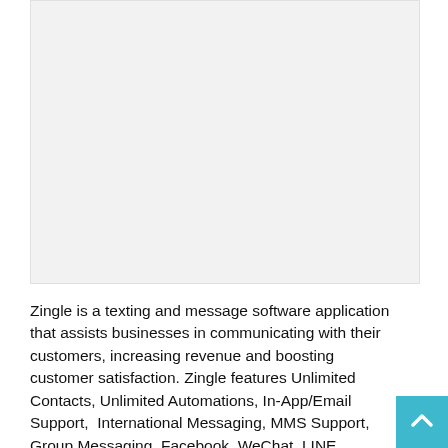[Figure (other): Blank light gray image placeholder area]
Zingle is a texting and message software application that assists businesses in communicating with their customers, increasing revenue and boosting customer satisfaction. Zingle features Unlimited Contacts, Unlimited Automations, In-App/Email Support,  International Messaging, MMS Support, Group Messaging, Facebook, WeChat, LINE, Touchtone Automations, Scheduled Automations, Language Translations, API Access, Dedicated Account Manager, Hospitality Integrations, and Setup & Training. Zingle is a startup and software that enables businesses to engage, support, and